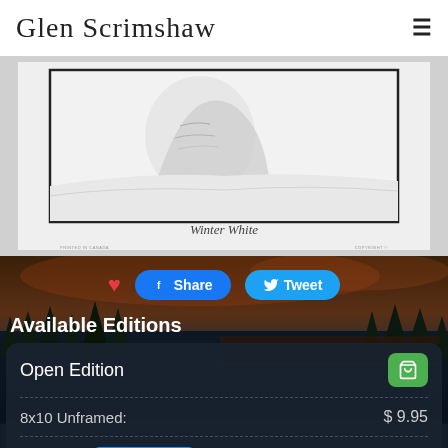Glen Scrimshaw
[Figure (illustration): Artwork print titled 'Winter White' — a pencil/graphite landscape drawing of a rocky mountain or cliff in a snowy winter scene, shown in a white mat with black border. Text 'PRINTED IN CANADA' at bottom left and 'COPYRIGHT ©' at bottom right.]
Winter White
[Figure (photo): Dark scenic background photo of a winter/twilight landscape with trees and warm sky tones, used as page background behind the social sharing and editions section.]
❤  Share  Tweet
Available Editions
|  |  |
| --- | --- |
| Open Edition | 🛒 |
| 8x10 Unframed: | $ 9.95 |
| Framing:   View Framing | $ 20.00 |